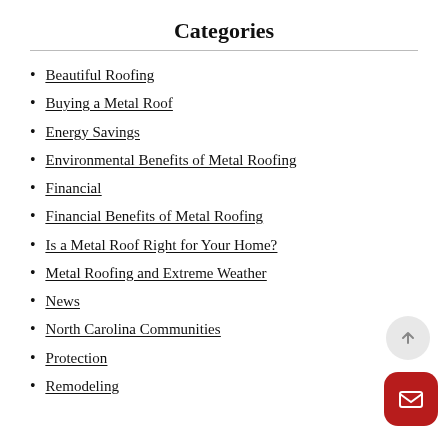Categories
Beautiful Roofing
Buying a Metal Roof
Energy Savings
Environmental Benefits of Metal Roofing
Financial
Financial Benefits of Metal Roofing
Is a Metal Roof Right for Your Home?
Metal Roofing and Extreme Weather
News
North Carolina Communities
Protection
Remodeling